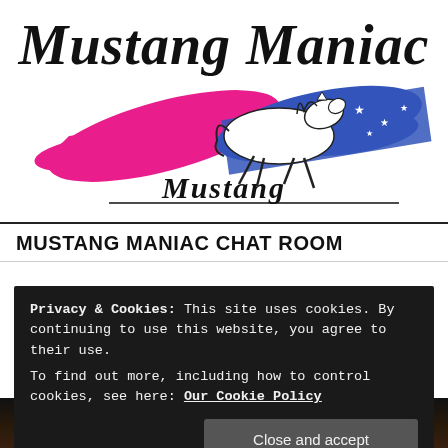[Figure (logo): Mustang Maniac logo with bold italic text 'Mustang Maniac' at top, a running horse outline with pink flame swoosh and blue stars-and-stripes swoosh behind it, and a cursive 'Mustang' signature script below]
MUSTANG MANIAC CHAT ROOM
Privacy & Cookies: This site uses cookies. By continuing to use this website, you agree to their use.
To find out more, including how to control cookies, see here: Our Cookie Policy
Close and accept